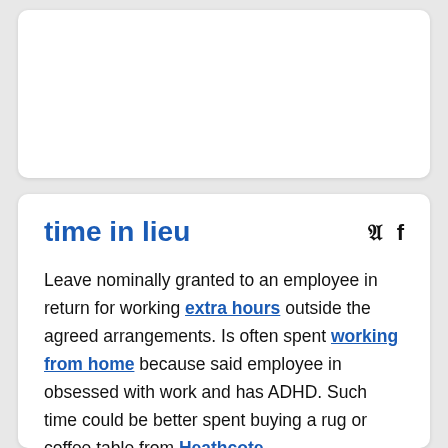[Figure (other): Top white card area — blank/image placeholder region]
time in lieu
Leave nominally granted to an employee in return for working extra hours outside the agreed arrangements. Is often spent working from home because said employee in obsessed with work and has ADHD. Such time could be better spent buying a rug or coffee table from Heathcote.
Fingers: Yo, I'm taking tomorrow as time in lieu for working on Sunday. OK?